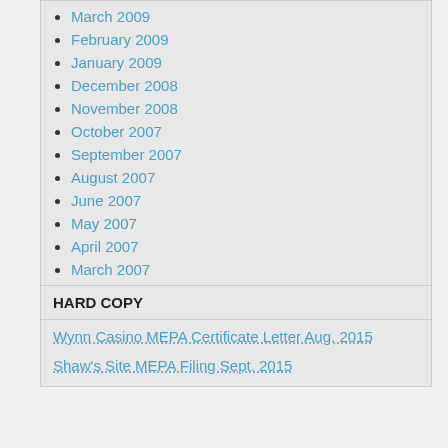March 2009
February 2009
January 2009
December 2008
November 2008
October 2007
September 2007
August 2007
June 2007
May 2007
April 2007
March 2007
HARD COPY
Wynn Casino MEPA Certificate Letter Aug. 2015
Shaw's Site MEPA Filing Sept. 2015